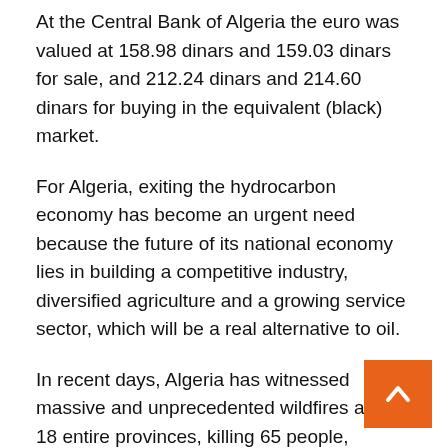At the Central Bank of Algeria the euro was valued at 158.98 dinars and 159.03 dinars for sale, and 212.24 dinars and 214.60 dinars for buying in the equivalent (black) market.
For Algeria, exiting the hydrocarbon economy has become an urgent need because the future of its national economy lies in building a competitive industry, diversified agriculture and a growing service sector, which will be a real alternative to oil.
In recent days, Algeria has witnessed massive and unprecedented wildfires across 18 entire provinces, killing 65 people, including 28 in the initial count. Families besieged by the fire destroyed their homes and agricultural crops.
Algerian President Abdelmadzi Deboun said most of the fires for reasons were intentional...